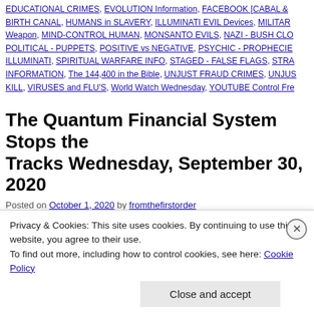EDUCATIONAL CRIMES, EVOLUTION Information, FACEBOOK [CABAL &..., BIRTH CANAL, HUMANS in SLAVERY, ILLUMINATI EVIL Devices, MILITARY... Weapon, MIND-CONTROL HUMAN, MONSANTO EVILS, NAZI - BUSH CLO..., POLITICAL - PUPPETS, POSITIVE vs NEGATIVE, PSYCHIC - PROPHECIE..., ILLUMINATI, SPIRITUAL WARFARE INFO, STAGED - FALSE FLAGS, STRA... INFORMATION, The 144,400 in the Bible, UNJUST FRAUD CRIMES, ANJU... KILL, VIRUSES and FLU'S, World Watch Wednesday, YOUTUBE Control Fre...
The Quantum Financial System Stops the Tracks Wednesday, September 30, 2020
Posted on October 1, 2020 by fromthefirstorder
HomeGeopoliticsTrump The Quantum Financial System Stops ... Wednesday, September 30, 2020 Source: Final Wakeup Call | By... Central Banking System QFS has no equivalent in advanced tec...
Privacy & Cookies: This site uses cookies. By continuing to use this website, you agree to their use.
To find out more, including how to control cookies, see here: Cookie Policy
Close and accept